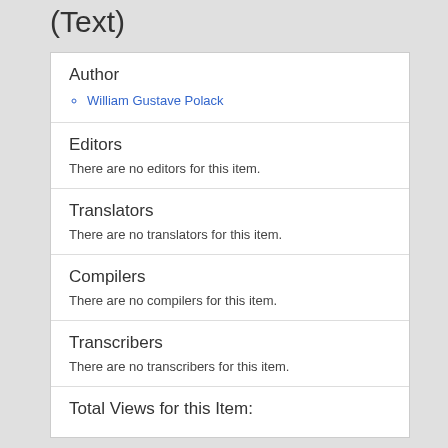(Text)
Author
William Gustave Polack
Editors
There are no editors for this item.
Translators
There are no translators for this item.
Compilers
There are no compilers for this item.
Transcribers
There are no transcribers for this item.
Total Views for this Item: